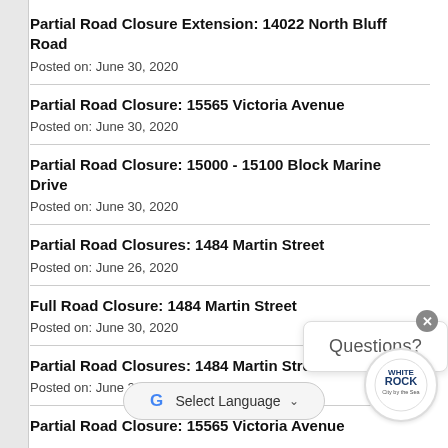Partial Road Closure Extension: 14022 North Bluff Road
Posted on: June 30, 2020
Partial Road Closure: 15565 Victoria Avenue
Posted on: June 30, 2020
Partial Road Closure: 15000 - 15100 Block Marine Drive
Posted on: June 30, 2020
Partial Road Closures: 1484 Martin Street
Posted on: June 26, 2020
Full Road Closure: 1484 Martin Street
Posted on: June 30, 2020
Partial Road Closures: 1484 Martin Street
Posted on: June 26, 2020
Partial Road Closure: 15565 Victoria Avenue